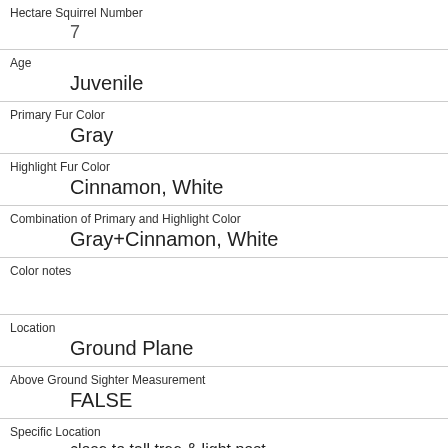| Field | Value |
| --- | --- |
| Hectare Squirrel Number | 7 |
| Age | Juvenile |
| Primary Fur Color | Gray |
| Highlight Fur Color | Cinnamon, White |
| Combination of Primary and Highlight Color | Gray+Cinnamon, White |
| Color notes |  |
| Location | Ground Plane |
| Above Ground Sighter Measurement | FALSE |
| Specific Location | close to tall tree & light post |
| Running | 0 |
| Chasing |  |